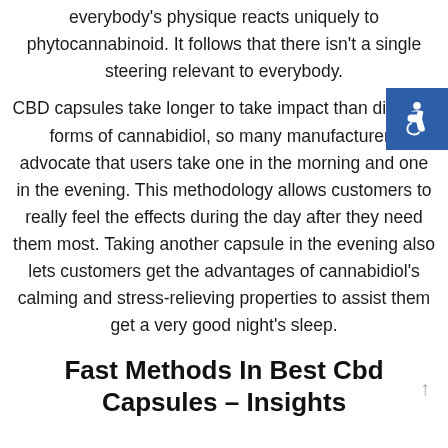everybody's physique reacts uniquely to phytocannabinoid. It follows that there isn't a single steering relevant to everybody.
CBD capsules take longer to take impact than different forms of cannabidiol, so many manufacturers advocate that users take one in the morning and one in the evening. This methodology allows customers to really feel the effects during the day after they need them most. Taking another capsule in the evening also lets customers get the advantages of cannabidiol's calming and stress-relieving properties to assist them get a very good night's sleep.
Fast Methods In Best Cbd Capsules – Insights